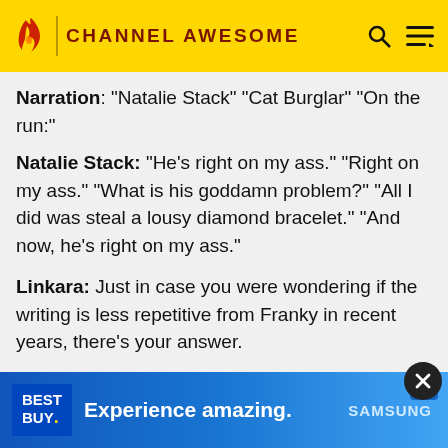CHANNEL AWESOME
Narration: "Natalie Stack" "Cat Burglar" "On the run:"
Natalie Stack: "He's right on my ass." "Right on my ass." "What is his goddamn problem?" "All I did was steal a lousy diamond bracelet." "And now, he's right on my ass."
Linkara: Just in case you were wondering if the writing is less repetitive from Franky in recent years, there's your answer.
Linkara (v/o): Oh, and nice use of the black and white narration captions. At first, I thought it was the narrator or The Fixer talking about Natalie Stack. But apparently, she was talking about a completely different...
[Figure (screenshot): Best Buy advertisement banner: 'Experience amazing. SAMSUNG' on blue gradient background with Best Buy logo]